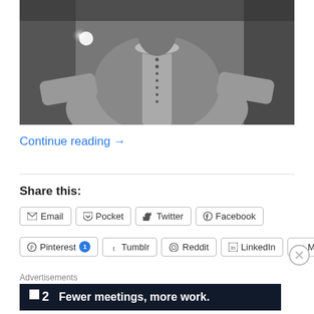[Figure (photo): Black and white photograph of a person in ornate robes with embroidered necklace detail, standing with arms outstretched, bright light source visible in background]
Continue reading →
Share this:
Email | Pocket | Twitter | Facebook | Pinterest | Tumblr | Reddit | LinkedIn | More
Advertisements
Fewer meetings, more work.